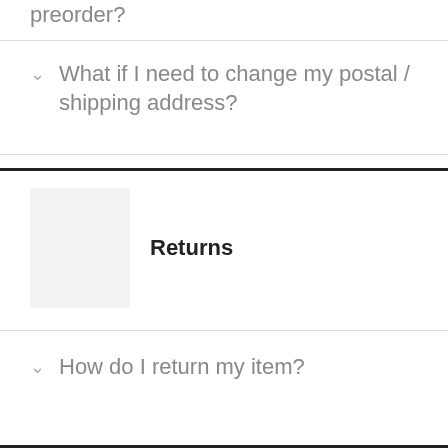preorder?
What if I need to change my postal / shipping address?
Returns
How do I return my item?